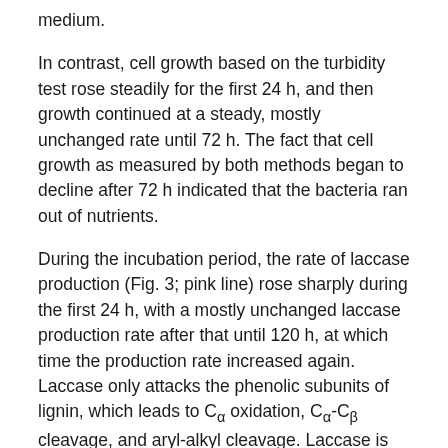medium.
In contrast, cell growth based on the turbidity test rose steadily for the first 24 h, and then growth continued at a steady, mostly unchanged rate until 72 h. The fact that cell growth as measured by both methods began to decline after 72 h indicated that the bacteria ran out of nutrients.
During the incubation period, the rate of laccase production (Fig. 3; pink line) rose sharply during the first 24 h, with a mostly unchanged laccase production rate after that until 120 h, at which time the production rate increased again. Laccase only attacks the phenolic subunits of lignin, which leads to Cα oxidation, Cα-Cβ cleavage, and aryl-alkyl cleavage. Laccase is able to reduce one molecule of dioxygen to two molecules of water, while